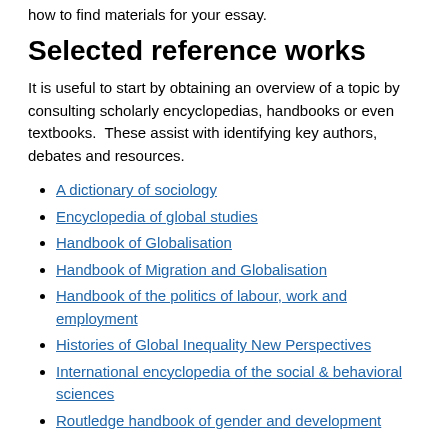how to find materials for your essay.
Selected reference works
It is useful to start by obtaining an overview of a topic by consulting scholarly encyclopedias, handbooks or even textbooks.  These assist with identifying key authors, debates and resources.
A dictionary of sociology
Encyclopedia of global studies
Handbook of Globalisation
Handbook of Migration and Globalisation
Handbook of the politics of labour, work and employment
Histories of Global Inequality New Perspectives
International encyclopedia of the social & behavioral sciences
Routledge handbook of gender and development